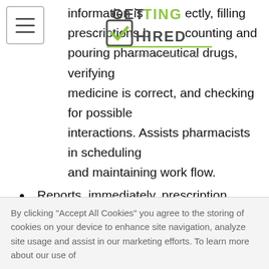[Figure (logo): Getting Hired logo - An Adecco Group Company]
information is correctly, filling prescriptions by counting and pouring pharmaceutical drugs, verifying medicine is correct, and checking for possible interactions. Assists pharmacists in scheduling and maintaining work flow.
Reports, immediately, prescription errors to pharmacist on duty and adheres to Company policies and procedures in relation to pharmacy errors and the Quality Improvement Program.
Strictly adheres to the Walgreen Co. policy regarding Good Faith Dispensing during all
By clicking “Accept All Cookies” you agree to the storing of cookies on your device to enhance site navigation, analyze site usage and assist in our marketing efforts. To learn more about our use of